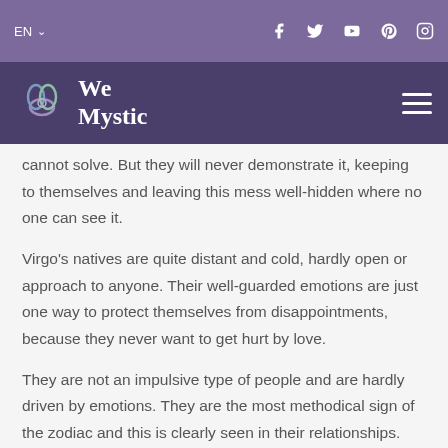EN  f  Twitter  YouTube  Pinterest  Instagram
We Mystic
cannot solve. But they will never demonstrate it, keeping to themselves and leaving this mess well-hidden where no one can see it.
Virgo's natives are quite distant and cold, hardly open or approach to anyone. Their well-guarded emotions are just one way to protect themselves from disappointments, because they never want to get hurt by love.
They are not an impulsive type of people and are hardly driven by emotions. They are the most methodical sign of the zodiac and this is clearly seen in their relationships. They will think